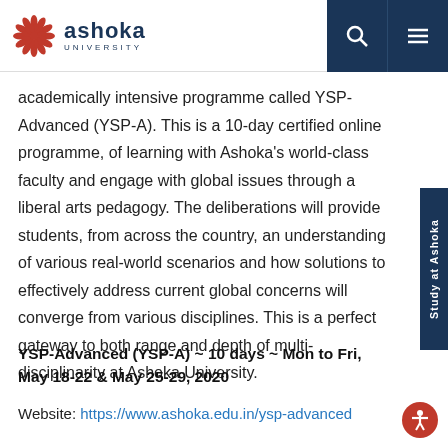Ashoka University
academically intensive programme called YSP-Advanced (YSP-A). This is a 10-day certified online programme, of learning with Ashoka's world-class faculty and engage with global issues through a liberal arts pedagogy. The deliberations will provide students, from across the country, an understanding of various real-world scenarios and how solutions to effectively address current global concerns will converge from various disciplines. This is a perfect gateway to both range and depth of multi-disciplinarity at Ashoka University.
YSP-Advanced (YSP-A) ~ 10 days ~ Mon to Fri, May 18-22 & May 25-29, 2020
Website: https://www.ashoka.edu.in/ysp-advanced